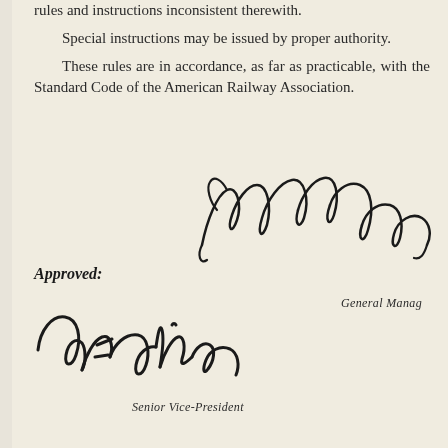rules and instructions inconsistent therewith.
Special instructions may be issued by proper authority.
These rules are in accordance, as far as practicable, with the Standard Code of the American Railway Association.
[Figure (illustration): Handwritten signature of General Manager]
General Manager
Approved:
[Figure (illustration): Handwritten signature of A.E. Clifton, Senior Vice-President]
Senior Vice-President